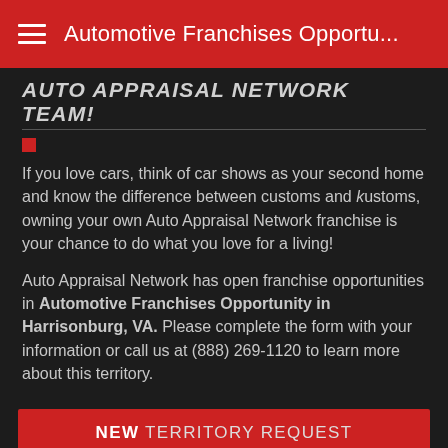Automotive Franchises Opportu...
AUTO APPRAISAL NETWORK TEAM!
If you love cars, think of car shows as your second home and know the difference between customs and kustoms, owning your own Auto Appraisal Network franchise is your chance to do what you love for a living!
Auto Appraisal Network has open franchise opportunities in Automotive Franchises Opportunity in Harrisonburg, VA. Please complete the form with your information or call us at (888) 269-1120 to learn more about this territory.
NEW TERRITORY REQUEST
Your name